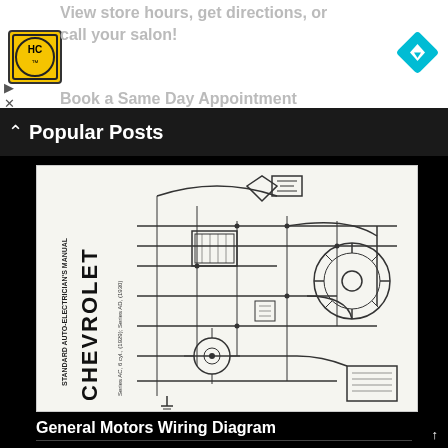[Figure (screenshot): Advertisement banner with HC logo (yellow square with HC text), navigation arrow icon, ad text 'View store hours, get directions, or call your salon!' and 'Book a Same Day Appointment', play/close buttons]
Popular Posts
[Figure (schematic): Chevrolet Standard Auto-Electricians Manual wiring diagram showing Series AC, 6 cyl. (1929), Series AD (1930) with distributor, ignition components, and electrical wiring]
General Motors Wiring Diagram